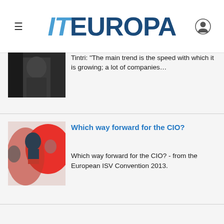IT EUROPA
Tintri: “The main trend is the speed with which it is growing; a lot of companies…
Which way forward for the CIO?
Which way forward for the CIO? - from the European ISV Convention 2013.